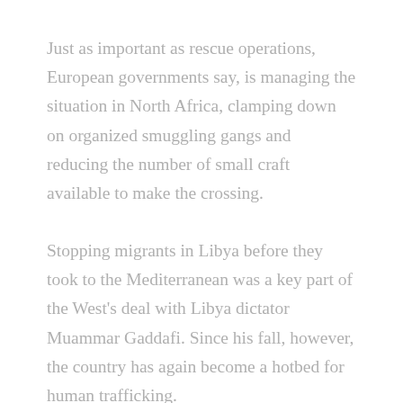Just as important as rescue operations, European governments say, is managing the situation in North Africa, clamping down on organized smuggling gangs and reducing the number of small craft available to make the crossing.
Stopping migrants in Libya before they took to the Mediterranean was a key part of the West's deal with Libya dictator Muammar Gaddafi. Since his fall, however, the country has again become a hotbed for human trafficking.
Such is the instability in Libya that significant progress